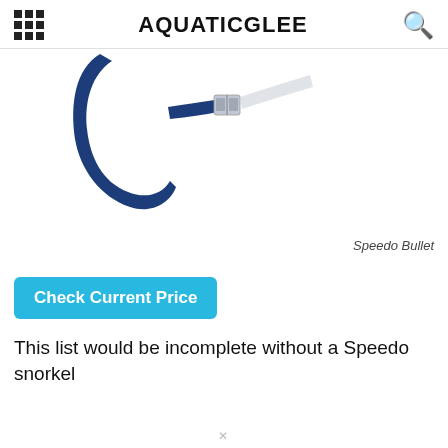AQUATICGLEE
[Figure (photo): Product photo of a Speedo Bullet swim snorkel with red tube and navy blue head mount/strap, shown against white background. The J-shaped red snorkel tube is visible on the right, and the navy blue goggle frame/mount is visible on the left.]
Speedo Bullet
Check Current Price
This list would be incomplete without a Speedo snorkel